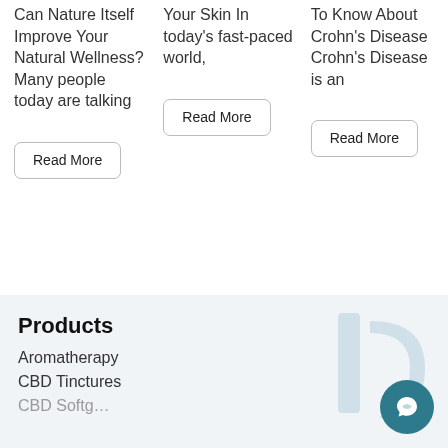Can Nature Itself Improve Your Natural Wellness? Many people today are talking
Read More
Your Skin In today's fast-paced world,
Read More
To Know About Crohn's Disease Crohn's Disease is an
Read More
Products
Aromatherapy
CBD Tinctures
CBD Softg…
[Figure (logo): Light blue leaf/letter logo watermark in bottom right corner area, with a teal circular chat icon overlay]